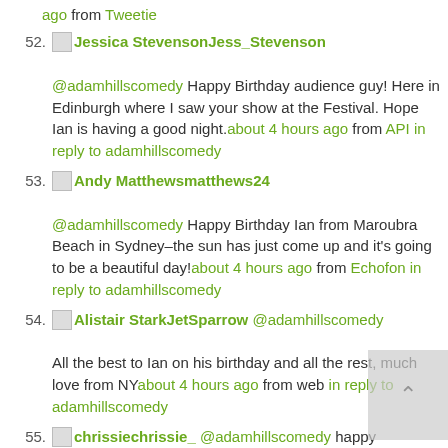ago from Tweetie
52. [img] Jessica Stevenson Jess_Stevenson @adamhillscomedy Happy Birthday audience guy! Here in Edinburgh where I saw your show at the Festival. Hope Ian is having a good night. about 4 hours ago from API in reply to adamhillscomedy
53. [img] Andy Matthews matthews24 @adamhillscomedy Happy Birthday Ian from Maroubra Beach in Sydney–the sun has just come up and it's going to be a beautiful day! about 4 hours ago from Echofon in reply to adamhillscomedy
54. [img] Alistair Stark JetSparrow @adamhillscomedy All the best to Ian on his birthday and all the rest, much love from NY about 4 hours ago from web in reply to adamhillscomedy
55. [img] chrissie chrissie_ @adamhillscomedy happy b-day Ian from Kirribilli! about 4 hours ago from